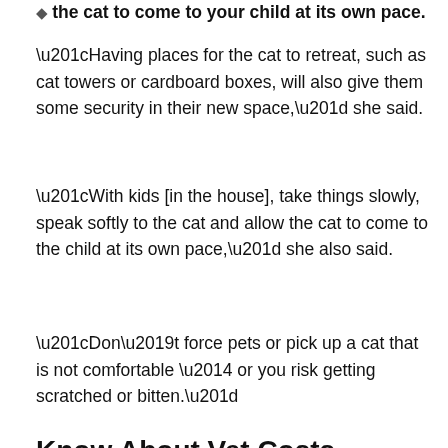the cat to come to your child at its own pace.
“Having places for the cat to retreat, such as cat towers or cardboard boxes, will also give them some security in their new space,” she said.
“With kids [in the house], take things slowly, speak softly to the cat and allow the cat to come to the child at its own pace,” she also said.
“Don’t force pets or pick up a cat that is not comfortable — or you risk getting scratched or bitten.”
Know About Vet Costs
Cats should see the vet at least once a year for a check-up, say the experts.
TODAY’S VETERINARIAN SHORTAGE: HOW IT COULD AFFECT YOUR DOG OR CAT